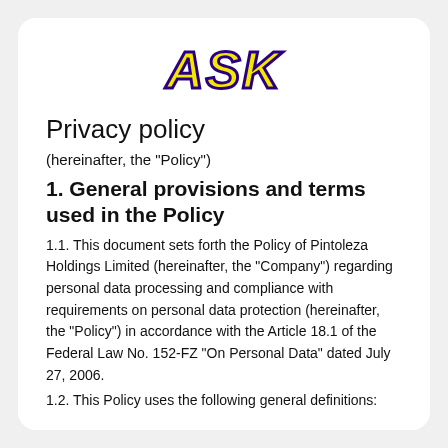[Figure (logo): ASK logo in yellow italic bold text with dark purple outline]
Privacy policy
(hereinafter, the "Policy")
1. General provisions and terms used in the Policy
1.1. This document sets forth the Policy of Pintoleza Holdings Limited (hereinafter, the "Company") regarding personal data processing and compliance with requirements on personal data protection (hereinafter, the "Policy") in accordance with the Article 18.1 of the Federal Law No. 152-FZ "On Personal Data" dated July 27, 2006.
1.2. This Policy uses the following general definitions: